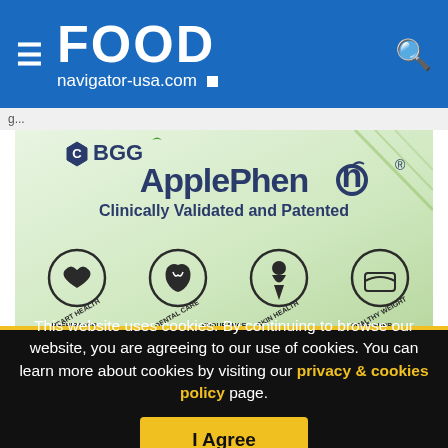FOOD navigator-usa.com
[Figure (illustration): BGG ApplePhenon advertisement. Logo shows CBGG ApplePhenon with text 'Clinically Validated and Patented'. Below are circular icons for: Heart Health, Dental Care, Skin Health, Healthy Weight, Respirator[y], Endurance, [Gl]ucose Supp[ort].]
This website uses cookies. By continuing to browse our website, you are agreeing to our use of cookies. You can learn more about cookies by visiting our privacy & cookies policy page.